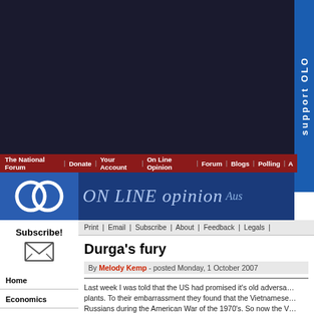[Figure (screenshot): Dark top banner area of website]
The National Forum | Donate | Your Account | On Line Opinion | Forum | Blogs | Polling | A
[Figure (logo): ON LINE opinion Aus - website logo with blue background]
[Figure (other): Support OLO vertical tab on right side]
Subscribe!
Home
Economics
Environment
Features
Health
International
Leisure
People
Politics
Technology
Print | Email | Subscribe | About | Feedback | Legals |
Durga's fury
By Melody Kemp - posted Monday, 1 October 2007
Last week I was told that the US had promised it's old adversa... plants. To their embarrassment they found that the Vietnamese... Russians during the American War of the 1970's. So now the V... great weapons grade uranium?" on the global market.
They could try India.
"India has been planning its nuclear program even before inde... from Berkeley ordered critical parts to build a cyclotron befor...